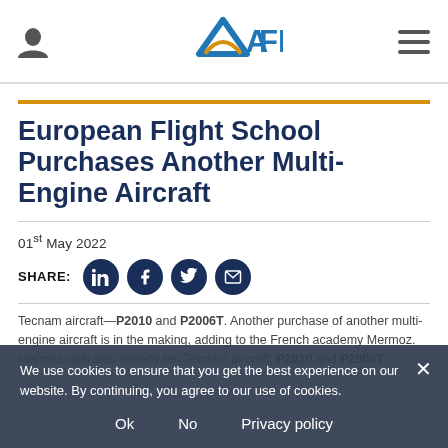AFM logo with user icon and menu icon
European Flight School Purchases Another Multi-Engine Aircraft
01st May 2022
SHARE:
Tecnam aircraft—P2010 and P2006T. Another multi-engine aircraft for French academy Mermoz. Mermoz operates already ten Tecnam aircraft, P2010 and P2006T.
We use cookies to ensure that you get the best experience on our website. By continuing, you agree to our use of cookies.